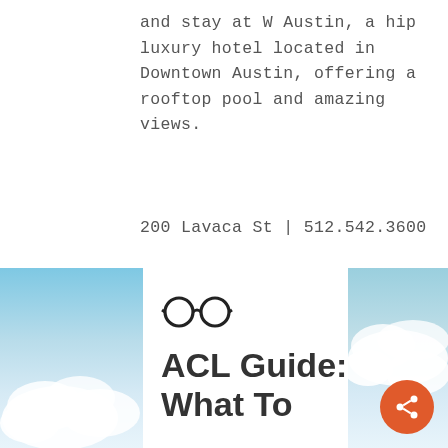and stay at W Austin, a hip luxury hotel located in Downtown Austin, offering a rooftop pool and amazing views.
200 Lavaca St | 512.542.3600
[Figure (illustration): Bottom section showing a sky/clouds background image split on left and right sides with a white card in the center containing glasses icon and title text 'ACL Guide: What To']
ACL Guide: What To